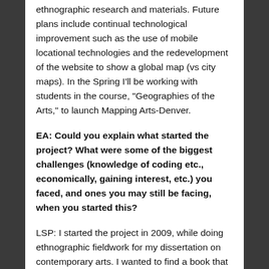ethnographic research and materials. Future plans include continual technological improvement such as the use of mobile locational technologies and the redevelopment of the website to show a global map (vs city maps). In the Spring I'll be working with students in the course, "Geographies of the Arts," to launch Mapping Arts-Denver.
EA: Could you explain what started the project? What were some of the biggest challenges (knowledge of coding etc., economically, gaining interest, etc.) you faced, and ones you may still be facing, when you started this?
LSP: I started the project in 2009, while doing ethnographic fieldwork for my dissertation on contemporary arts. I wanted to find a book that